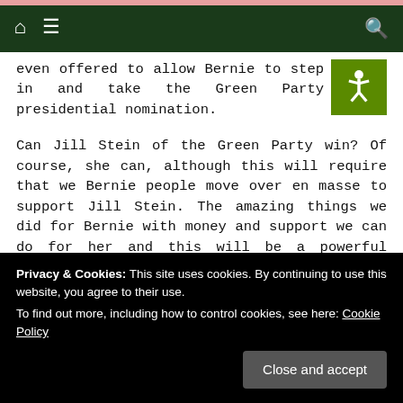Navigation bar with home icon, menu icon, and search icon on dark green background
even offered to allow Bernie to step in and take the Green Party presidential nomination.
Can Jill Stein of the Green Party win? Of course, she can, although this will require that we Bernie people move over en masse to support Jill Stein. The amazing things we did for Bernie with money and support we can do for her and this will be a powerful moment that will really catapult a third party into the race. We have that power. We can have our voices heard by helping Jill Stein and the Green Party a
Privacy & Cookies: This site uses cookies. By continuing to use this website, you agree to their use. To find out more, including how to control cookies, see here: Cookie Policy
Close and accept